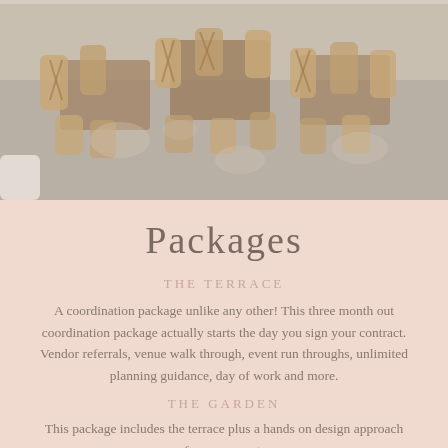[Figure (photo): Outdoor terrace with wooden bistro chairs and round tables on a concrete floor, dappled sunlight]
Packages
THE TERRACE
A coordination package unlike any other! This three month out coordination package actually starts the day you sign your contract. Vendor referrals, venue walk through, event run throughs, unlimited planning guidance, day of work and more.
THE GARDEN
This package includes the terrace plus a hands on design approach for your event.